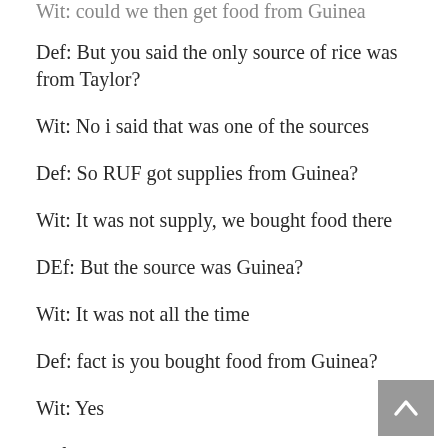Wit: could we then get food from Guinea
Def: But you said the only source of rice was from Taylor?
Wit: No i said that was one of the sources
Def: So RUF got supplies from Guinea?
Wit: It was not supply, we bought food there
DEf: But the source was Guinea?
Wit: It was not all the time
Def: fact is you bought food from Guinea?
Wit: Yes
Def: Besides the two source, where else?